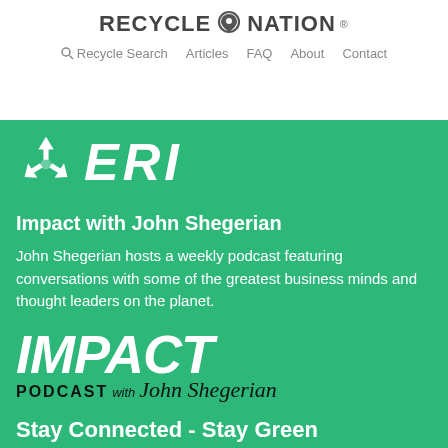RECYCLE NATION
Recycle Search   Articles   FAQ   About   Contact
[Figure (logo): ERI company logo with recycling arrows icon and bold italic ERI text in white on green background]
Impact with John Shegerian
John Shegerian hosts a weekly podcast featuring conversations with some of the greatest business minds and thought leaders on the planet.
[Figure (logo): IMPACT PODCAST with John Shegerian logo — bold italic white IMPACT text, with PODCAST in black bold caps and John Shegerian in cursive black signature script]
Stay Connected - Stay Green